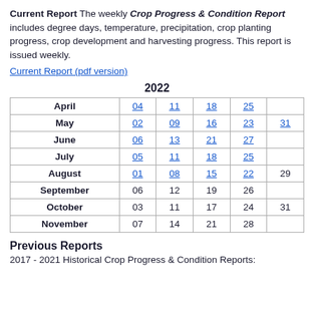Current Report The weekly Crop Progress & Condition Report includes degree days, temperature, precipitation, crop planting progress, crop development and harvesting progress. This report is issued weekly.
Current Report (pdf version)
2022
| Month | Date1 | Date2 | Date3 | Date4 | Date5 |
| --- | --- | --- | --- | --- | --- |
| April | 04 | 11 | 18 | 25 |  |
| May | 02 | 09 | 16 | 23 | 31 |
| June | 06 | 13 | 21 | 27 |  |
| July | 05 | 11 | 18 | 25 |  |
| August | 01 | 08 | 15 | 22 | 29 |
| September | 06 | 12 | 19 | 26 |  |
| October | 03 | 11 | 17 | 24 | 31 |
| November | 07 | 14 | 21 | 28 |  |
Previous Reports
2017 - 2021 Historical Crop Progress & Condition Reports: